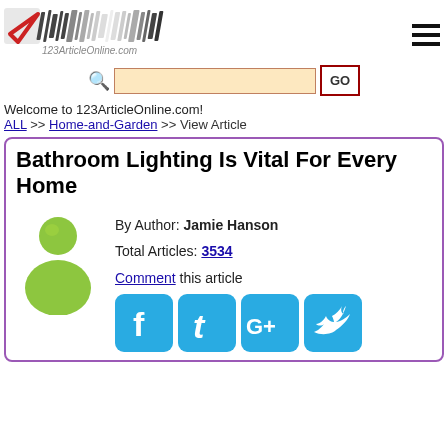[Figure (logo): 123ArticleOnline.com logo with checkmark icon and stylized text]
[Figure (other): Hamburger menu icon (three horizontal bars)]
[Figure (other): Search bar with magnifying glass icon, input field, and GO button]
Welcome to 123ArticleOnline.com!
ALL >> Home-and-Garden >> View Article
Bathroom Lighting Is Vital For Every Home
By Author: Jamie Hanson
Total Articles: 3534
Comment this article
[Figure (other): Social media share icons: Facebook, Twitter/t, Google+, Twitter bird]